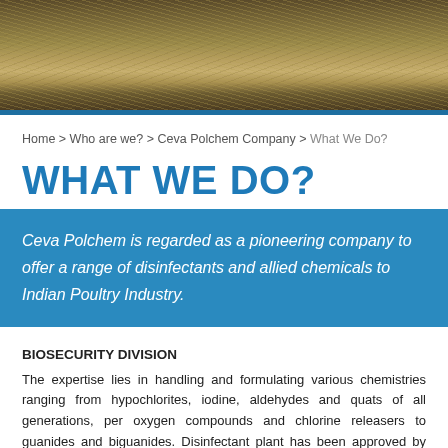[Figure (photo): Hero image of straw/hay field ground cover with dry grass and soil]
Home > Who are we? > Ceva Polchem Company > What We Do?
WHAT WE DO?
Ceva Polchem is regarded as a pioneering company to offer a range of disinfectants and allied chemicals to Indian Poultry Industry.
BIOSECURITY DIVISION
The expertise lies in handling and formulating various chemistries ranging from hypochlorites, iodine, aldehydes and quats of all generations, per oxygen compounds and chlorine releasers to guanides and biguanides. Disinfectant plant has been approved by Indian FDA for GMP